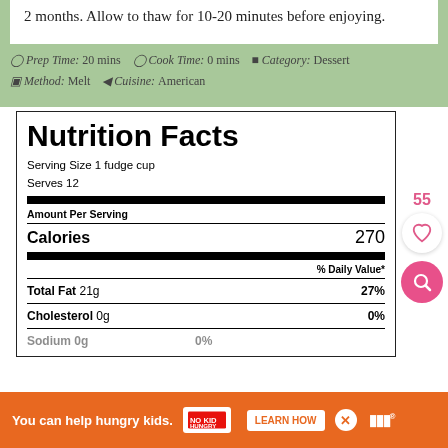2 months. Allow to thaw for 10-20 minutes before enjoying.
Prep Time: 20 mins   Cook Time: 0 mins   Category: Dessert   Method: Melt   Cuisine: American
| Nutrition Facts |
| Serving Size 1 fudge cup |
| Serves 12 |
| Amount Per Serving |  |
| Calories | 270 |
|  | % Daily Value* |
| Total Fat 21g | 27% |
| Cholesterol 0g | 0% |
| Sodium 0g | 0% |